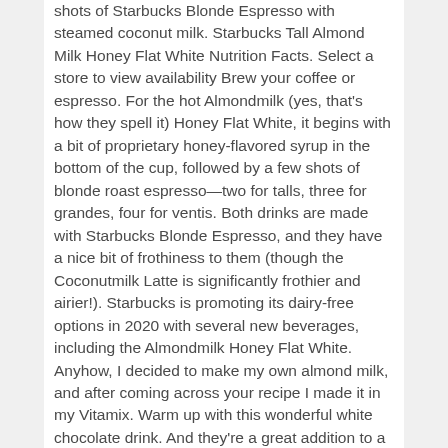shots of Starbucks Blonde Espresso with steamed coconut milk. Starbucks Tall Almond Milk Honey Flat White Nutrition Facts. Select a store to view availability Brew your coffee or espresso. For the hot Almondmilk (yes, that’s how they spell it) Honey Flat White, it begins with a bit of proprietary honey-flavored syrup in the bottom of the cup, followed by a few shots of blonde roast espresso—two for talls, three for grandes, four for ventis. Both drinks are made with Starbucks Blonde Espresso, and they have a nice bit of frothiness to them (though the Coconutmilk Latte is significantly frothier and airier!). Starbucks is promoting its dairy-free options in 2020 with several new beverages, including the Almondmilk Honey Flat White. Anyhow, I decided to make my own almond milk, and after coming across your recipe I made it in my Vitamix. Warm up with this wonderful white chocolate drink. And they’re a great addition to a menu that makes it easier for coffee drinkers to get their morning (and maybe PM) java fix without the dairy. Well, I guess you’ll have to figure that one out for yourself! Ristretto means “restricted” in Italian. milk & honey nutrition, llc Duplication of any content displayed on this website is prohibited, without written authorized permission. Updated: 1/7/2020. Updated: 1/7/2020. The Almondmilk Honey Flat